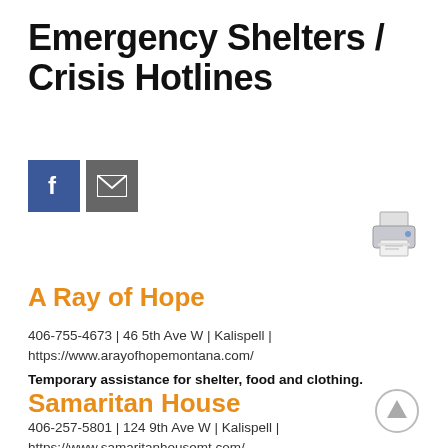Emergency Shelters / Crisis Hotlines
[Figure (logo): Facebook icon button (blue square with white f)]
[Figure (logo): Email/envelope icon button (gray square with white envelope)]
[Figure (illustration): Printer icon in gray/blue tones]
A Ray of Hope
406-755-4673 | 46 5th Ave W | Kalispell | https://www.arayofhopemontana.com/
Temporary assistance for shelter, food and clothing.
Samaritan House
406-257-5801 | 124 9th Ave W | Kalispell | https://www.samaritanhousemt.com/
[Figure (illustration): Scroll-to-top arrow button in a circle outline]